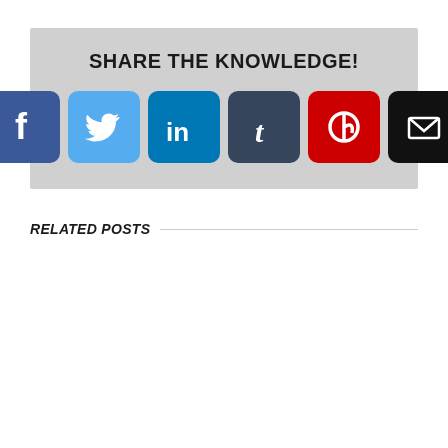SHARE THE KNOWLEDGE!
[Figure (infographic): Six social media share buttons: Facebook (blue), Twitter (light blue), LinkedIn (dark blue), Tumblr (dark navy), Pinterest (red), Email (black), each as rounded square icons with white symbols.]
RELATED POSTS